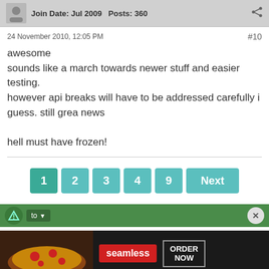Join Date: Jul 2009   Posts: 360
24 November 2010, 12:05 PM   #10
awesome
sounds like a march towards newer stuff and easier testing. however api breaks will have to be addressed carefully i guess. still grea news

hell must have frozen!
1 2 3 4 9 Next
[Figure (screenshot): Green toolbar with triangle logo and to/dropdown button and X close button]
[Figure (other): Seamless food ordering advertisement with pizza image, seamless logo and ORDER NOW button]